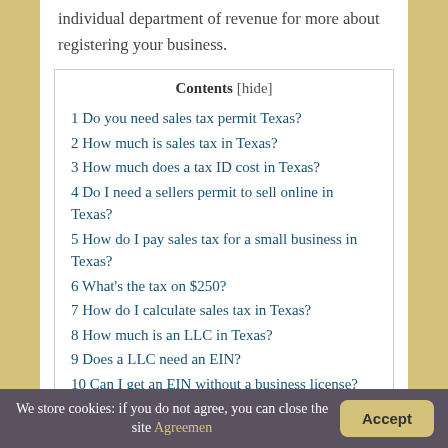individual department of revenue for more about registering your business.
1 Do you need sales tax permit Texas?
2 How much is sales tax in Texas?
3 How much does a tax ID cost in Texas?
4 Do I need a sellers permit to sell online in Texas?
5 How do I pay sales tax for a small business in Texas?
6 What's the tax on $250?
7 How do I calculate sales tax in Texas?
8 How much is an LLC in Texas?
9 Does a LLC need an EIN?
10 Can I get an EIN without a business license?
11 Can I run a business from my home in...
We store cookies: if you do not agree, you can close the site Agreemen